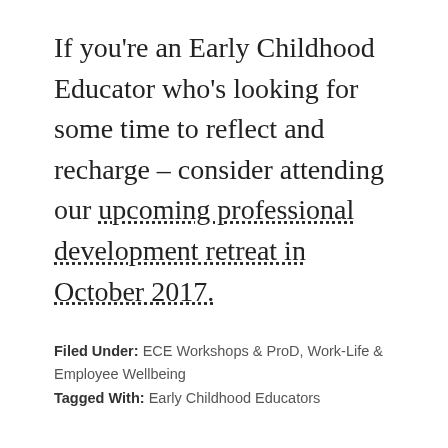If you're an Early Childhood Educator who's looking for some time to reflect and recharge – consider attending our upcoming professional development retreat in October 2017.
Filed Under: ECE Workshops & ProD, Work-Life & Employee Wellbeing
Tagged With: Early Childhood Educators
Ritchie Bros.